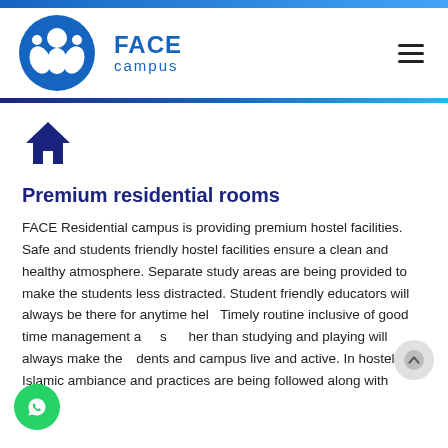[Figure (logo): FACE campus logo - blue circular icon with figure silhouettes and bold blue FACE campus text]
[Figure (other): Hamburger menu icon (three horizontal lines)]
[Figure (illustration): Dark blue house/home icon]
Premium residential rooms
FACE Residential campus is providing premium hostel facilities. Safe and students friendly hostel facilities ensure a clean and healthy atmosphere. Separate study areas are being provided to make the students less distracted. Student friendly educators will always be there for anytime help. Timely routine inclusive of good time management and s her than studying and playing will always make the dents and campus live and active. In hostel Islamic ambiance and practices are being followed along with
[Figure (illustration): WhatsApp button (green circle with phone icon) at bottom left]
[Figure (illustration): Scroll-to-top arrow button (grey circle with up chevron) at bottom right]